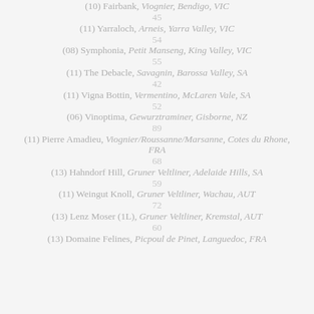(10) Fairbank, Viognier, Bendigo, VIC
45
(11) Yarraloch, Arneis, Yarra Valley, VIC
54
(08) Symphonia, Petit Manseng, King Valley, VIC
55
(11) The Debacle, Savagnin, Barossa Valley, SA
42
(11) Vigna Bottin, Vermentino, McLaren Vale, SA
52
(06) Vinoptima, Gewurztraminer, Gisborne, NZ
89
(11) Pierre Amadieu, Viognier/Roussanne/Marsanne, Cotes du Rhone, FRA
68
(13) Hahndorf Hill, Gruner Veltliner, Adelaide Hills, SA
59
(11) Weingut Knoll, Gruner Veltliner, Wachau, AUT
72
(13) Lenz Moser (1L), Gruner Veltliner, Kremstal, AUT
60
(13) Domaine Felines, Picpoul de Pinet, Languedoc, FRA